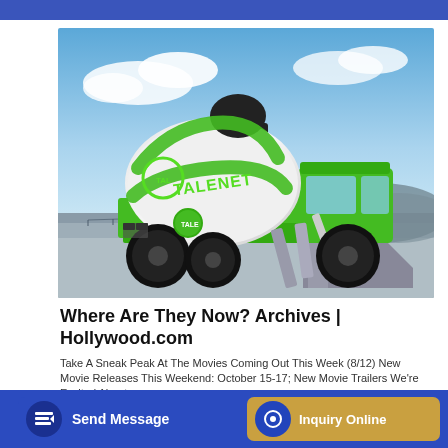[Figure (photo): A green and white Talenet self-loading concrete mixer truck on a road with blue sky background]
Where Are They Now? Archives | Hollywood.com
Take A Sneak Peak At The Movies Coming Out This Week (8/12) New Movie Releases This Weekend: October 15-17; New Movie Trailers We're Excited About